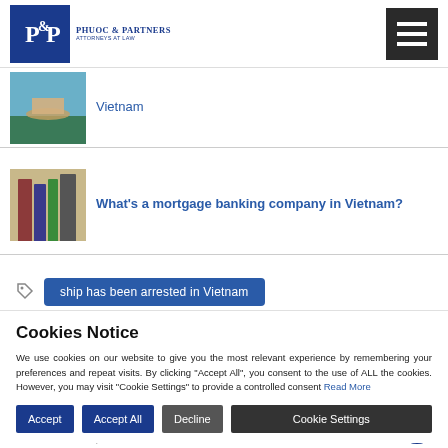Phuoc & Partners - Attorneys at Law
Vietnam
What's a mortgage banking company in Vietnam?
ship has been arrested in Vietnam
Cookies Notice
We use cookies on our website to give you the most relevant experience by remembering your preferences and repeat visits. By clicking "Accept All", you consent to the use of ALL the cookies. However, you may visit "Cookie Settings" to provide a controlled consent Read More
Accept | Accept All | Decline | Cookie Settings
What's the procedure for